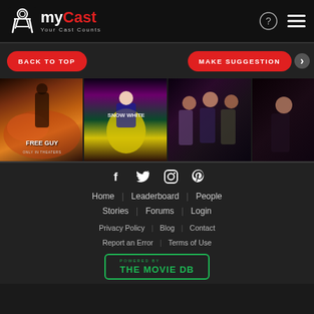myCast – Your Cast Counts
BACK TO TOP | MAKE SUGGESTION
[Figure (photo): Movie poster carousel showing Free Guy, Snow White, and a Marvel ensemble film poster]
Home Leaderboard People Stories Forums Login Privacy Policy Blog Contact Report an Error Terms of Use POWERED BY THE MOVIE DB